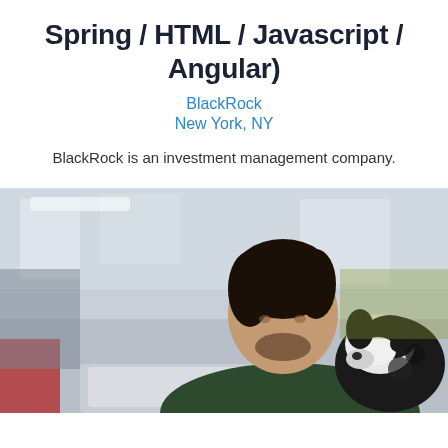Spring / HTML / Javascript / Angular)
BlackRock
New York, NY
BlackRock is an investment management company.
[Figure (photo): A man sitting at a laptop in an office environment, looking at a black and white dog beside him.]